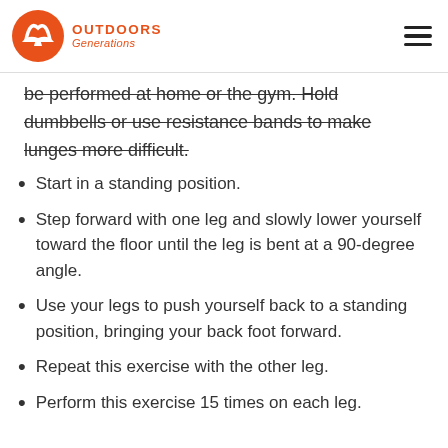Outdoors Generations
be performed at home or the gym. Hold dumbbells or use resistance bands to make lunges more difficult.
Start in a standing position.
Step forward with one leg and slowly lower yourself toward the floor until the leg is bent at a 90-degree angle.
Use your legs to push yourself back to a standing position, bringing your back foot forward.
Repeat this exercise with the other leg.
Perform this exercise 15 times on each leg.